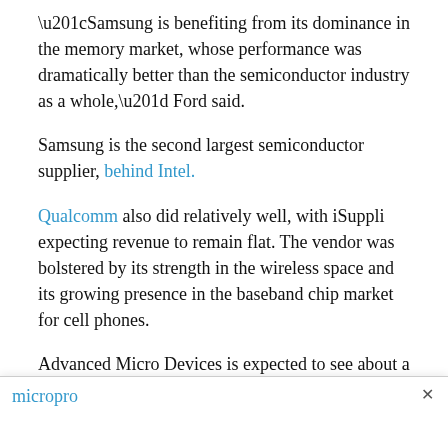“Samsung is benefiting from its dominance in the memory market, whose performance was dramatically better than the semiconductor industry as a whole,” Ford said.
Samsung is the second largest semiconductor supplier, behind Intel.
Qualcomm also did relatively well, with iSuppli expecting revenue to remain flat. The vendor was bolstered by its strength in the wireless space and its growing presence in the baseband chip market for cell phones.
Advanced Micro Devices is expected to see about a 7.6 percent revenue decline, which mirrors the amount of the overall revenue decrease in the microprocessor space. The iSuppli analyst said AMD made a strong showing in the microprocessor...